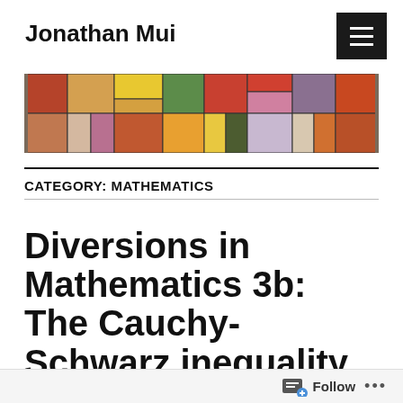Jonathan Mui
[Figure (illustration): Horizontal banner showing a colorful abstract painting of rectangular blocks in various colors including yellow, orange, red, green, purple, pink, white, and gray arranged in a grid-like composition.]
CATEGORY: MATHEMATICS
Diversions in Mathematics 3b: The Cauchy-Schwarz inequality (part 2)
Follow